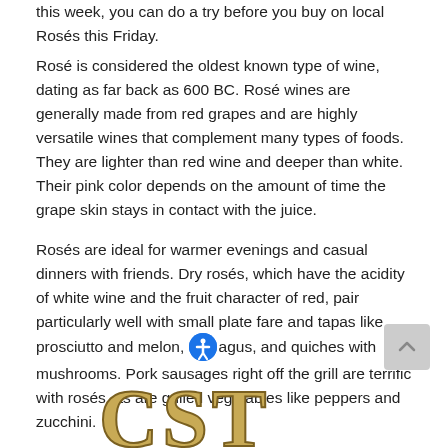this week, you can do a try before you buy on local Rosés this Friday.
Rosé is considered the oldest known type of wine, dating as far back as 600 BC. Rosé wines are generally made from red grapes and are highly versatile wines that complement many types of foods. They are lighter than red wine and deeper than white. Their pink color depends on the amount of time the grape skin stays in contact with the juice.
Rosés are ideal for warmer evenings and casual dinners with friends. Dry rosés, which have the acidity of white wine and the fruit character of red, pair particularly well with small plate fare and tapas like prosciutto and melon, asparagus, and quiches with mushrooms. Pork sausages right off the grill are terrific with rosés, as are grilled vegetables like peppers and zucchini.
[Figure (logo): Partial gold/tan serif letters visible at bottom of page, appearing to be a logo or masthead]